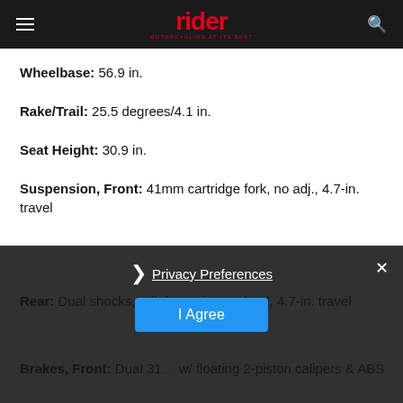rider — MOTORCYCLING AT ITS BEST
Wheelbase: 56.9 in.
Rake/Trail: 25.5 degrees/4.1 in.
Seat Height: 30.9 in.
Suspension, Front: 41mm cartridge fork, no adj., 4.7-in. travel
Rear: Dual shocks, adj. for spring preload, 4.7-in. travel
Brakes, Front: Dual 31[...] w/ floating 2-piston calipers & ABS
Privacy Preferences — I Agree